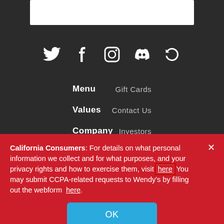[Figure (screenshot): White bar element at top of dark background section]
[Figure (other): Social media icons row: Twitter, Facebook, Instagram, Discord, and a circular arrows/sync icon, all white on dark background]
Menu
Gift Cards
Values
Contact Us
Company
Investors
California Consumers: For details on what personal information we collect and for what purposes, and your privacy rights and how to exercise them, visit here You may submit CCPA-related requests to Wendy's by filling out the webform here.
OK